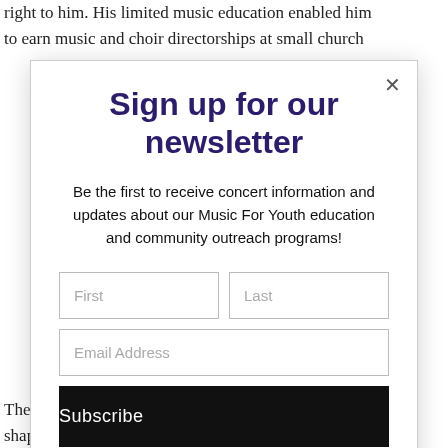right to him. His limited music education enabled him to earn music and choir directorships at small church
Sign up for our newsletter
Be the first to receive concert information and updates about our Music For Youth education and community outreach programs!
First | Last | Email Address | Subscribe
The kind, with its superheroes, deranged gods, and shape-shifting monstrosities, was the beginning of